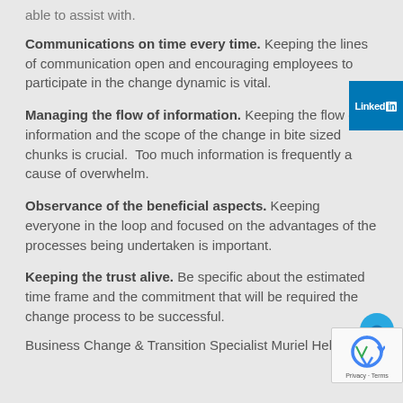able to assist with.
Communications on time every time. Keeping the lines of communication open and encouraging employees to participate in the change dynamic is vital.
Managing the flow of information. Keeping the flow of information and the scope of the change in bite sized chunks is crucial.  Too much information is frequently a cause of overwhelm.
Observance of the beneficial aspects. Keeping everyone in the loop and focused on the advantages of the processes being undertaken is important.
Keeping the trust alive. Be specific about the estimated time frame and the commitment that will be required the change process to be successful.
Business Change & Transition Specialist Muriel Hel...